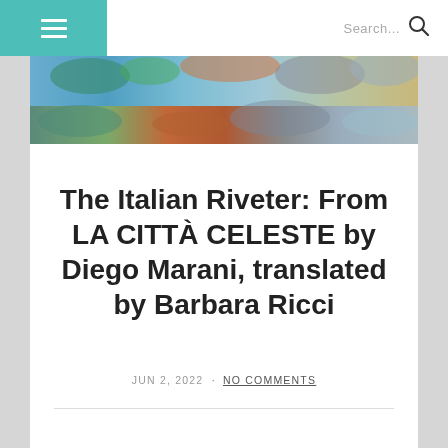≡  Search...
[Figure (photo): Colorful banner image showing an impressionistic painting with blues, greens, oranges, and earth tones — appears to be a landscape or garden scene.]
The Italian Riveter: From LA CITTÀ CELESTE by Diego Marani, translated by Barbara Ricci
JUN 2, 2022 · NO COMMENTS